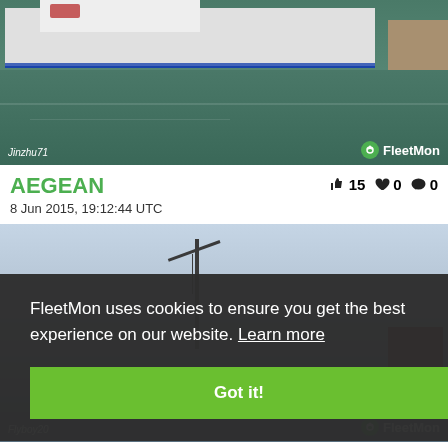[Figure (photo): Ship AEGEAN docked at port, photographed by Jinzhu71, with FleetMon watermark]
AEGEAN
8 Jun 2015, 19:12:44 UTC
[Figure (photo): Second ship photo with cookie consent banner overlay. Cookie banner text: FleetMon uses cookies to ensure you get the best experience on our website. Learn more. Got it! button.]